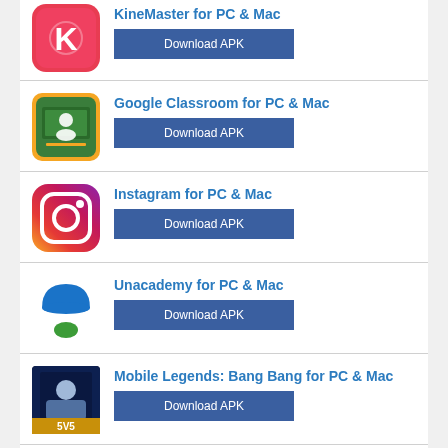KineMaster for PC & Mac — Download APK
Google Classroom for PC & Mac — Download APK
Instagram for PC & Mac — Download APK
Unacademy for PC & Mac — Download APK
Mobile Legends: Bang Bang for PC & Mac — Download APK
WhatsApp Messenger for PC & Mac — Download APK